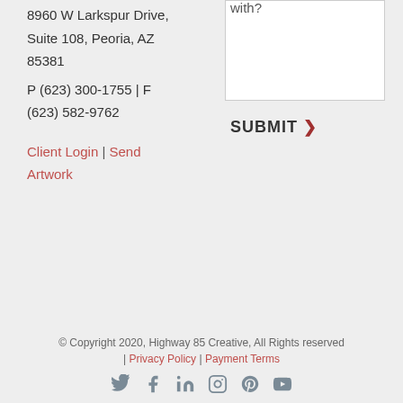8960 W Larkspur Drive, Suite 108, Peoria, AZ 85381
P (623) 300-1755 | F (623) 582-9762
Client Login | Send Artwork
with?
SUBMIT >
© Copyright 2020, Highway 85 Creative, All Rights reserved | Privacy Policy | Payment Terms